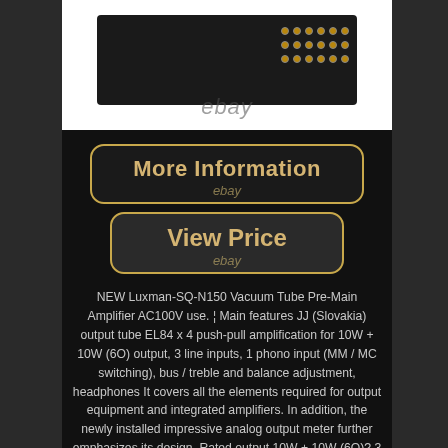[Figure (photo): Product photo of Luxman SQ-N150 amplifier with eBay watermark on white background]
More Information
ebay
View Price
ebay
NEW Luxman-SQ-N150 Vacuum Tube Pre-Main Amplifier AC100V use. ¦ Main features JJ (Slovakia) output tube EL84 x 4 push-pull amplification for 10W + 10W (6O) output, 3 line inputs, 1 phono input (MM / MC switching), bus / treble and balance adjustment, headphones It covers all the elements required for output equipment and integrated amplifiers. In addition, the newly installed impressive analog output meter further emphasizes its design. Rated output 10W + 10W (6O)? 3 input lines, 1 phono (MM / MC)?
1 output speaker, 1 headphone? Power consumption 80W (Electrical Appliance and Material Safety Law)?